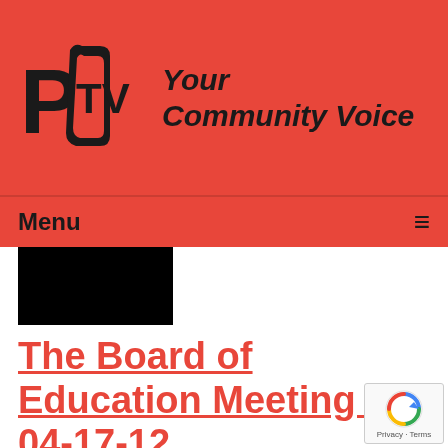[Figure (logo): PCTV logo with text 'Your Community Voice' on red background]
Menu ≡
[Figure (photo): Black thumbnail image (redacted/dark)]
The Board of Education Meeting of 04-17-12
Airdate: 04/17/2012
Watched: 498 times